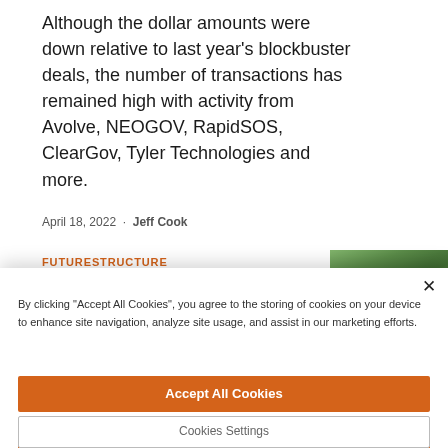Although the dollar amounts were down relative to last year's blockbuster deals, the number of transactions has remained high with activity from Avolve, NEOGOV, RapidSOS, ClearGov, Tyler Technologies and more.
April 18, 2022 · Jeff Cook
FUTURESTRUCTURE
[Figure (photo): Partial thumbnail image of an article, partially obscured by cookie banner]
By clicking "Accept All Cookies", you agree to the storing of cookies on your device to enhance site navigation, analyze site usage, and assist in our marketing efforts.
Accept All Cookies
Reject All
Cookies Settings